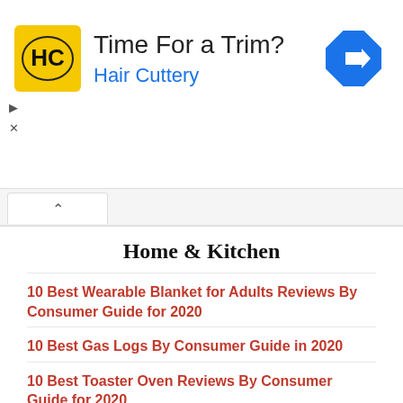[Figure (other): Hair Cuttery advertisement banner with logo, 'Time For a Trim?' headline, 'Hair Cuttery' subtext in blue, and a blue direction arrow icon on the right.]
Home & Kitchen
10 Best Wearable Blanket for Adults Reviews By Consumer Guide for 2020
10 Best Gas Logs By Consumer Guide in 2020
10 Best Toaster Oven Reviews By Consumer Guide for 2020
10 Best Indoor Electric Space Heater Reviews for 2020